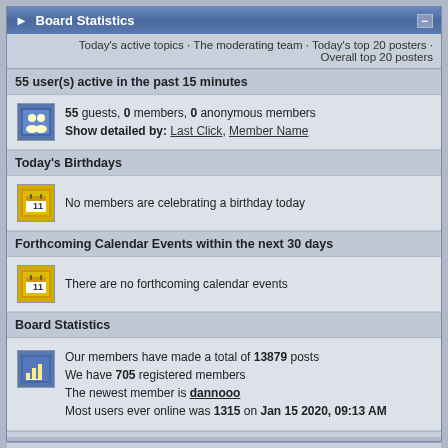Board Statistics
Today's active topics · The moderating team · Today's top 20 posters · Overall top 20 posters
55 user(s) active in the past 15 minutes
55 guests, 0 members, 0 anonymous members
Show detailed by: Last Click, Member Name
Today's Birthdays
No members are celebrating a birthday today
Forthcoming Calendar Events within the next 30 days
There are no forthcoming calendar events
Board Statistics
Our members have made a total of 13879 posts
We have 705 registered members
The newest member is dannooo
Most users ever online was 1315 on Jan 15 2020, 09:13 AM
Lo-Fi Version   Time is now: 29th August 2022 - 11:38 AM